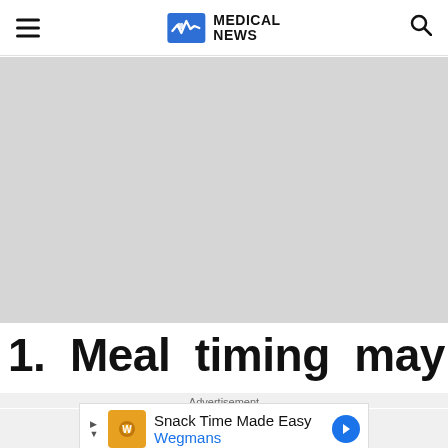MEDICAL NEWS
[Figure (photo): Large gray placeholder image area beneath the header navigation bar]
1.  Meal  timing  may  help
Advertisement
[Figure (other): Advertisement banner: Snack Time Made Easy - Wegmans]